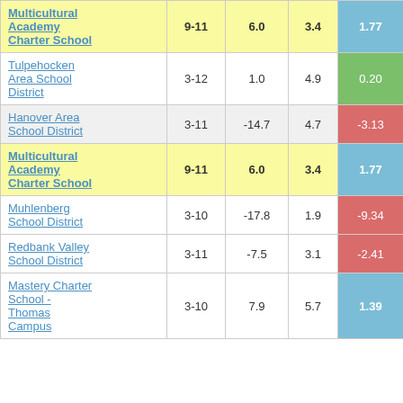| School/District | Grades | Col3 | Col4 | Col5 |
| --- | --- | --- | --- | --- |
| Multicultural Academy Charter School | 9-11 | 6.0 | 3.4 | 1.77 |
| Tulpehocken Area School District | 3-12 | 1.0 | 4.9 | 0.20 |
| Hanover Area School District | 3-11 | -14.7 | 4.7 | -3.13 |
| Multicultural Academy Charter School | 9-11 | 6.0 | 3.4 | 1.77 |
| Muhlenberg School District | 3-10 | -17.8 | 1.9 | -9.34 |
| Redbank Valley School District | 3-11 | -7.5 | 3.1 | -2.41 |
| Mastery Charter School - Thomas Campus | 3-10 | 7.9 | 5.7 | 1.39 |